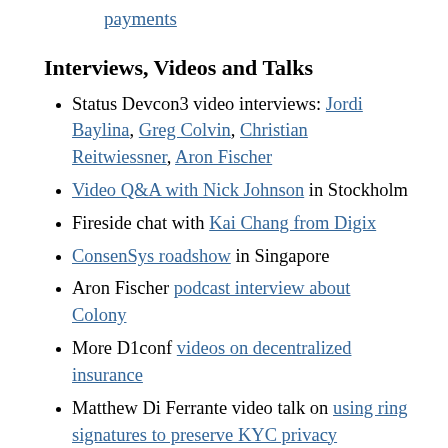payments
Interviews, Videos and Talks
Status Devcon3 video interviews: Jordi Baylina, Greg Colvin, Christian Reitwiessner, Aron Fischer
Video Q&A with Nick Johnson in Stockholm
Fireside chat with Kai Chang from Digix
ConsenSys roadshow in Singapore
Aron Fischer podcast interview about Colony
More D1conf videos on decentralized insurance
Matthew Di Ferrante video talk on using ring signatures to preserve KYC privacy
Rhys Lindmark podcast with Luis